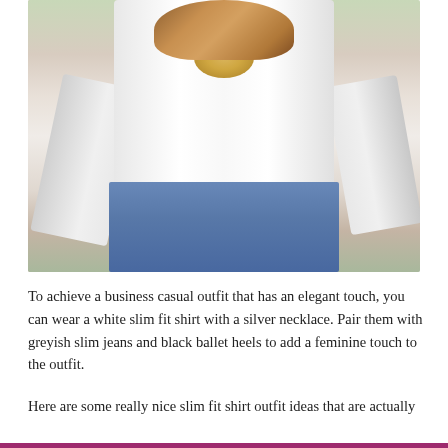[Figure (photo): A woman wearing a white slim fit button-down shirt with rolled sleeves, a statement gold/silver necklace, and greyish-blue slim jeans. The background is blurred with greenery and architectural elements.]
To achieve a business casual outfit that has an elegant touch, you can wear a white slim fit shirt with a silver necklace. Pair them with greyish slim jeans and black ballet heels to add a feminine touch to the outfit.
Here are some really nice slim fit shirt outfit ideas that are actually